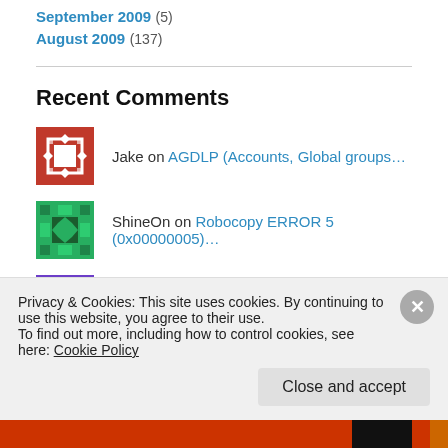September 2009 (5)
August 2009 (137)
Recent Comments
Jake on AGDLP (Accounts, Global groups…
ShineOn on Robocopy ERROR 5 (0x00000005)…
Lauren on Creating a Reverse Lookup Zone…
Privacy & Cookies: This site uses cookies. By continuing to use this website, you agree to their use.
To find out more, including how to control cookies, see here: Cookie Policy
Close and accept